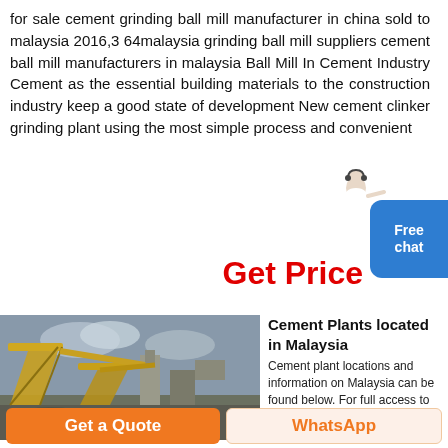for sale cement grinding ball mill manufacturer in china sold to malaysia 2016,3 64malaysia grinding ball mill suppliers cement ball mill manufacturers in malaysia Ball Mill In Cement Industry Cement as the essential building materials to the construction industry keep a good state of development New cement clinker grinding plant using the most simple process and convenient
[Figure (illustration): Customer service representative figure (person in white with headset) next to a blue rounded rectangle chat widget showing 'Free chat']
Get Price
[Figure (photo): Industrial cement/mining machinery equipment outdoors with yellow conveyor structures against a cloudy sky]
Cement Plants located in Malaysia
Cement plant locations and information on Malaysia can be found below. For full access to the database, purchase
Get a Quote
WhatsApp